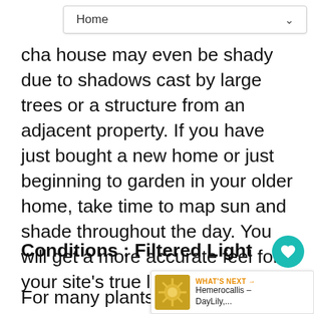Home
cha... house may even be shady due to shadows cast by large trees or a structure from an adjacent property. If you have just bought a new home or just beginning to garden in your older home, take time to map sun and shade throughout the day. You will get a more accurate feel for your site's true light conditions.
Conditions : Filtered Light
For many plants that prefer partially shady conditions, filtered light is ideal. Good planting sites are under a mid to large tree that lets some light through their branches
[Figure (other): Hemerocallis DayLily flower thumbnail image for What's Next section]